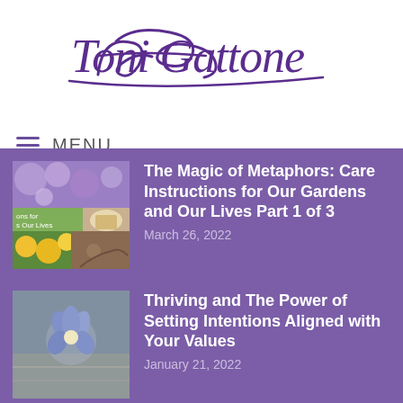[Figure (logo): Toni Gattone cursive signature logo in purple]
MENU
The Magic of Metaphors: Care Instructions for Our Gardens and Our Lives Part 1 of 3 — March 26, 2022
Thriving and The Power of Setting Intentions Aligned with Your Values — January 21, 2022
Autumn Garden Care: Must-Do Tasks + Top Tools That Make for Easy-Peasy Work — November 17, 2021